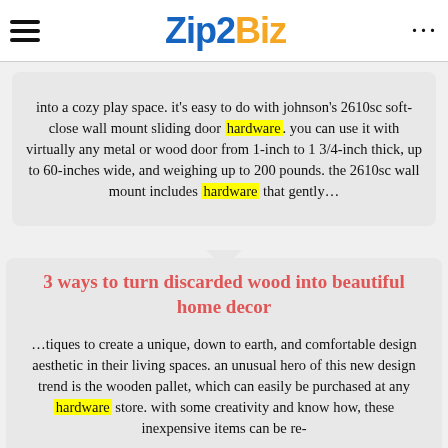Zip2Biz
into a cozy play space. it's easy to do with johnson's 2610sc soft-close wall mount sliding door hardware. you can use it with virtually any metal or wood door from 1-inch to 1 3/4-inch thick, up to 60-inches wide, and weighing up to 200 pounds. the 2610sc wall mount includes hardware that gently...
3 ways to turn discarded wood into beautiful home decor
...tiques to create a unique, down to earth, and comfortable design aesthetic in their living spaces. an unusual hero of this new design trend is the wooden pallet, which can easily be purchased at any hardware store. with some creativity and know how, these inexpensive items can be re-